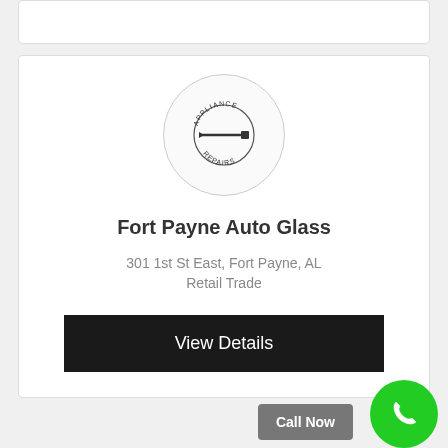[Figure (logo): Appliance Repair logo: circular stamp with screwdriver icon and text APPLIANCE REPAIRS]
Fort Payne Auto Glass
301 1st St East, Fort Payne, AL
Retail Trade
View Details
Call Now